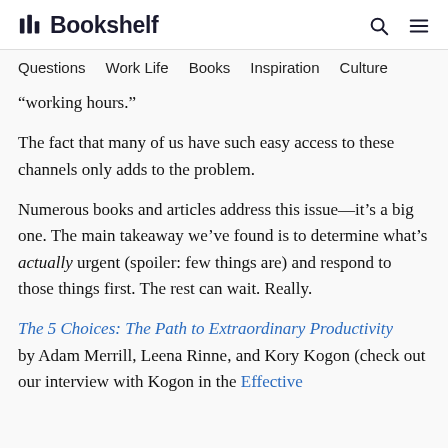Bookshelf
Questions   Work Life   Books   Inspiration   Culture
“working hours.”
The fact that many of us have such easy access to these channels only adds to the problem.
Numerous books and articles address this issue—it’s a big one. The main takeaway we’ve found is to determine what’s actually urgent (spoiler: few things are) and respond to those things first. The rest can wait. Really.
The 5 Choices: The Path to Extraordinary Productivity by Adam Merrill, Leena Rinne, and Kory Kogon (check out our interview with Kogon in the Effective